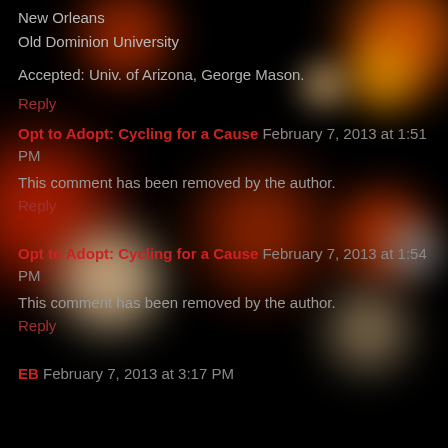New Orleans
Old Dominion University
Accepted: Univ. of Arizona, George Mason.
Reply
Opt to Adopt: Cycling for a Cause  February 7, 2013 at 1:51 PM
This comment has been removed by the author.
Reply
Opt to Adopt: Cycling for a Cause  February 7, 2013 at 1:54 PM
This comment has been removed by the author.
Reply
EB  February 7, 2013 at 3:17 PM